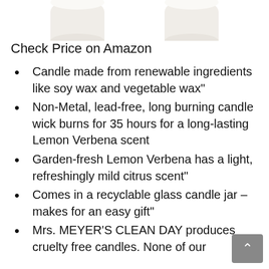[Figure (photo): Two white candle jars shown from above, partially cropped at the top of the page.]
Check Price on Amazon
Candle made from renewable ingredients like soy wax and vegetable wax"
Non-Metal, lead-free, long burning candle wick burns for 35 hours for a long-lasting Lemon Verbena scent
Garden-fresh Lemon Verbena has a light, refreshingly mild citrus scent"
Comes in a recyclable glass candle jar – makes for an easy gift"
Mrs. MEYER'S CLEAN DAY produces cruelty free candles. None of our